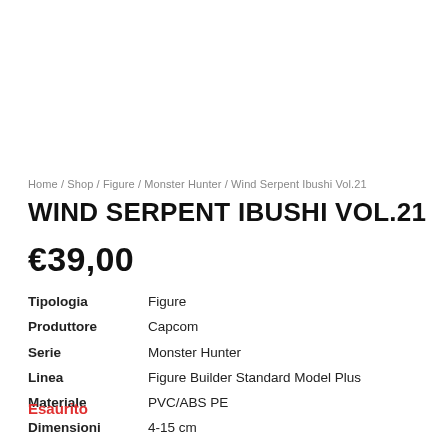Home / Shop / Figure / Monster Hunter / Wind Serpent Ibushi Vol.21
WIND SERPENT IBUSHI VOL.21
€39,00
| Tipologia | Figure |
| Produttore | Capcom |
| Serie | Monster Hunter |
| Linea | Figure Builder Standard Model Plus |
| Materiale | PVC/ABS PE |
| Dimensioni | 4-15 cm |
Esaurito